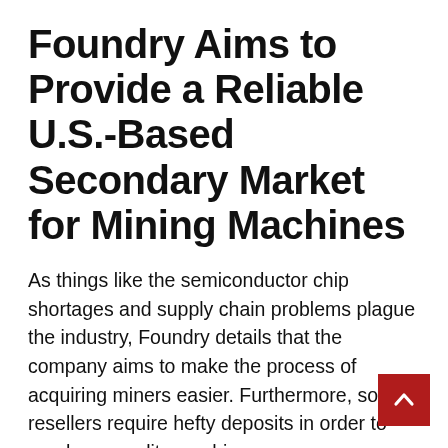Foundry Aims to Provide a Reliable U.S.-Based Secondary Market for Mining Machines
As things like the semiconductor chip shortages and supply chain problems plague the industry, Foundry details that the company aims to make the process of acquiring miners easier. Furthermore, some resellers require hefty deposits in order to purchase quality machines.
“Foundry solves these problems by providing buyers and sellers with a trusted and reliable U.S.-based secondary market for mining machines,” the company’s announcement